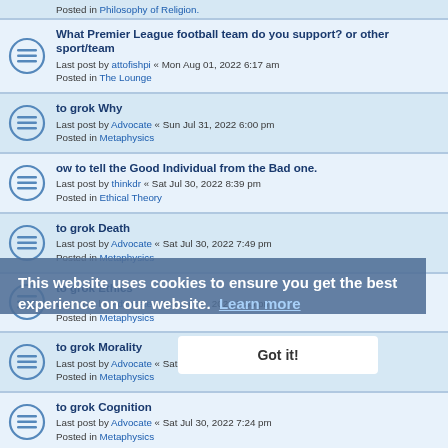Posted in Philosophy of Religion.
What Premier League football team do you support? or other sport/team
Last post by attofishpi « Mon Aug 01, 2022 6:17 am
Posted in The Lounge
to grok Why
Last post by Advocate « Sun Jul 31, 2022 6:00 pm
Posted in Metaphysics
ow to tell the Good Individual from the Bad one.
Last post by thinkdr « Sat Jul 30, 2022 8:39 pm
Posted in Ethical Theory
to grok Death
Last post by Advocate « Sat Jul 30, 2022 7:49 pm
Posted in Metaphysics
to grok Ethics
Last post by Advocate « Sat Jul 30, 2022 7:33 pm
Posted in Metaphysics
to grok Morality
Last post by Advocate « Sat Jul 30, 2022 7:29 pm
Posted in Metaphysics
to grok Cognition
Last post by Advocate « Sat Jul 30, 2022 7:24 pm
Posted in Metaphysics
to grok Sentience
Last post by Advocate « Sat Jul 30, 2022 7:20 pm
Posted in Metaphysics
This website uses cookies to ensure you get the best experience on our website. Learn more
Got it!